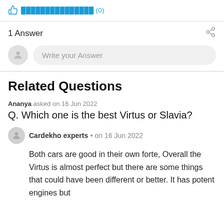👍 ███████████████ (0)
1 Answer
Write your Answer
Related Questions
Ananya asked on 16 Jun 2022
Q. Which one is the best Virtus or Slavia?
Cardekho experts • on 16 Jun 2022
Both cars are good in their own forte, Overall the Virtus is almost perfect but there are some things that could have been different or better. It has potent engines but